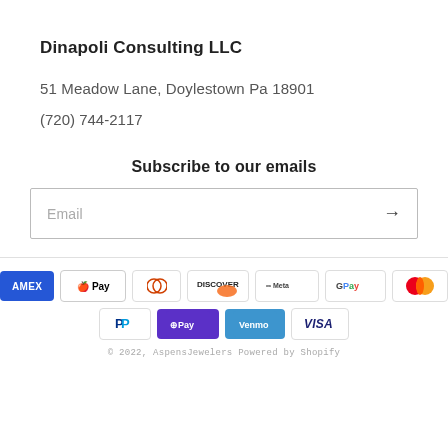Dinapoli Consulting LLC
51 Meadow Lane, Doylestown Pa 18901
(720) 744-2117
Subscribe to our emails
Email
[Figure (other): Payment method icons: American Express, Apple Pay, Diners Club, Discover, Meta Pay, Google Pay, Mastercard, PayPal, Shop Pay, Venmo, Visa]
© 2022, AspensJewelers Powered by Shopify